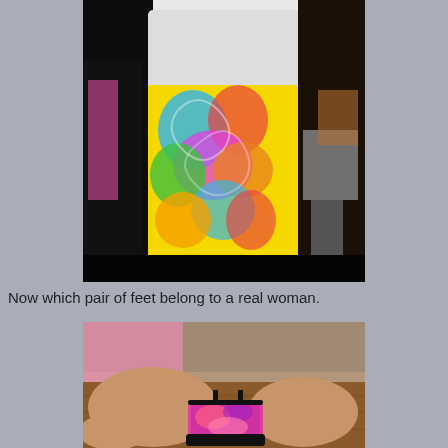[Figure (photo): Person wearing colorful psychedelic patterned leggings and a white top, photographed from behind in a crowded room. The leggings have swirling patterns in pink, blue, yellow, green, and orange. Other people visible in the background.]
Now which pair of feet belong to a real woman.
[Figure (photo): Close-up photo of feet and legs sitting on a wooden floor. One person is wearing pink patterned platform heels with black straps. Another person's bare legs are visible crossing in the foreground. Pink tulle fabric visible in background.]